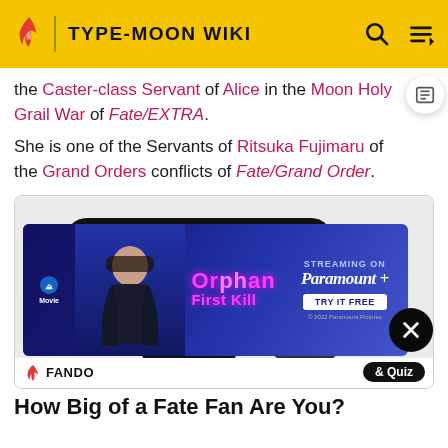TYPE-MOON WIKI
the Caster-class Servant of Alice in the Moon Holy Grail War of Fate/EXTRA. She is one of the Servants of Ritsuka Fujimaru of the Grand Orders conflicts of Fate/Grand Order.
[Figure (logo): Type-Moon Wiki logo: large blue T-shaped letter with black rounded outline on light grey background]
[Figure (photo): Advertisement for Orphan: First Kill movie, streaming on Paramount+. Shows a dark-haired girl against purple background with pink neon title text. 'TRY IT FREE' button shown.]
FANDO
Quiz
How Big of a Fate Fan Are You?